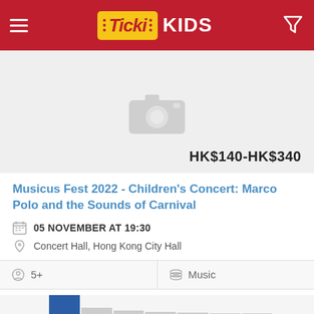Ticki KIDS
[Figure (photo): Placeholder image area with camera icon]
HK$140-HK$340
Musicus Fest 2022 - Children's Concert: Marco Polo and the Sounds of Carnival
05 NOVEMBER AT 19:30
Concert Hall, Hong Kong City Hall
5+
Music
69 Shares